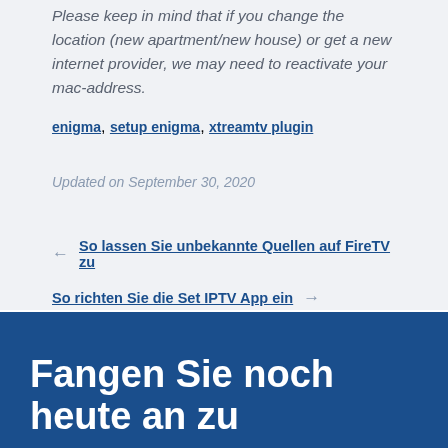Please keep in mind that if you change the location (new apartment/new house) or get a new internet provider, we may need to reactivate your mac-address.
enigma, setup enigma, xtreamtv plugin
Updated on September 30, 2020
← So lassen Sie unbekannte Quellen auf FireTV zu
So richten Sie die Set IPTV App ein →
Fangen Sie noch heute an zu